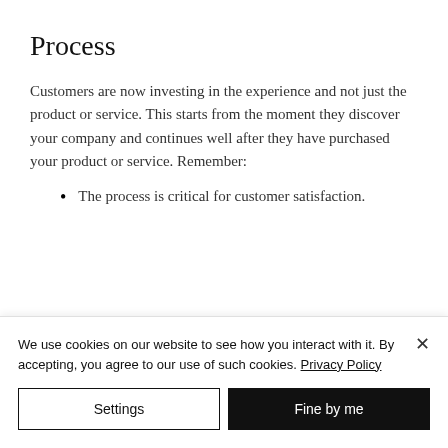Process
Customers are now investing in the experience and not just the product or service. This starts from the moment they discover your company and continues well after they have purchased your product or service. Remember:
The process is critical for customer satisfaction.
We use cookies on our website to see how you interact with it. By accepting, you agree to our use of such cookies. Privacy Policy
Settings
Fine by me